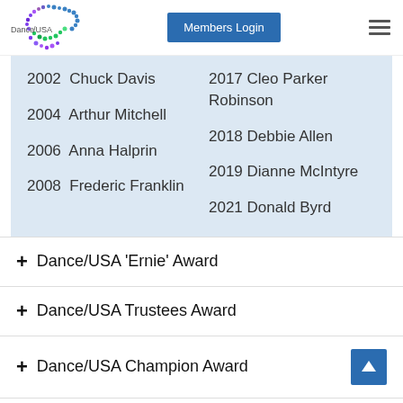[Figure (logo): Dance/USA logo with colorful dot pattern]
Members Login
2002 Chuck Davis
2004 Arthur Mitchell
2006 Anna Halprin
2008 Frederic Franklin
2017 Cleo Parker Robinson
2018 Debbie Allen
2019 Dianne McIntyre
2021 Donald Byrd
+ Dance/USA 'Ernie' Award
+ Dance/USA Trustees Award
+ Dance/USA Champion Award